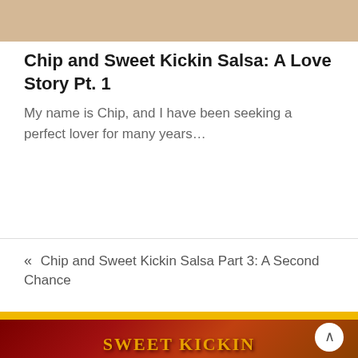[Figure (photo): Top portion of a food/recipe blog page showing a tan/beige colored image strip at the top]
Chip and Sweet Kickin Salsa: A Love Story Pt. 1
My name is Chip, and I have been seeking a perfect lover for many years…
« Chip and Sweet Kickin Salsa Part 3: A Second Chance
[Figure (photo): Sweet Kickin Salsa brand logo on a dark red/maroon background with chili peppers, showing stylized text 'SWEET KICKIN SALSA']